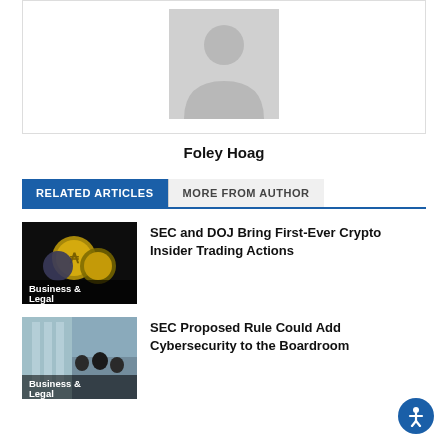[Figure (illustration): Grey placeholder avatar icon representing author profile photo]
Foley Hoag
RELATED ARTICLES   MORE FROM AUTHOR
[Figure (photo): Dark thumbnail with crypto coins - Business & Legal category label]
SEC and DOJ Bring First-Ever Crypto Insider Trading Actions
[Figure (photo): Office boardroom photo - Business & Legal category label]
SEC Proposed Rule Could Add Cybersecurity to the Boardroom